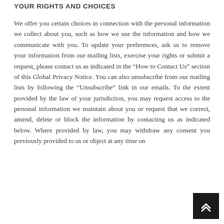YOUR RIGHTS AND CHOICES
We offer you certain choices in connection with the personal information we collect about you, such as how we use the information and how we communicate with you. To update your preferences, ask us to remove your information from our mailing lists, exercise your rights or submit a request, please contact us as indicated in the “How to Contact Us” section of this Global Privacy Notice. You can also unsubscribe from our mailing lists by following the “Unsubscribe” link in our emails. To the extent provided by the law of your jurisdiction, you may request access to the personal information we maintain about you or request that we correct, amend, delete or block the information by contacting us as indicated below. Where provided by law, you may withdraw any consent you previously provided to us or object at any time on